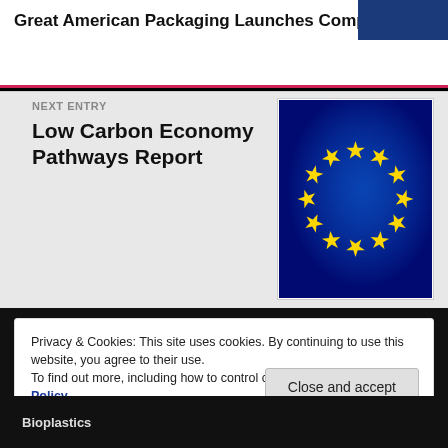Great American Packaging Launches Compost...
NEXT ENTRY
Low Carbon Economy Pathways Report
[Figure (photo): EU flag (blue background with circle of yellow stars)]
Privacy & Cookies: This site uses cookies. By continuing to use this website, you agree to their use.
To find out more, including how to control cookies, see here: Cookie Policy
Close and accept
Bioplastics